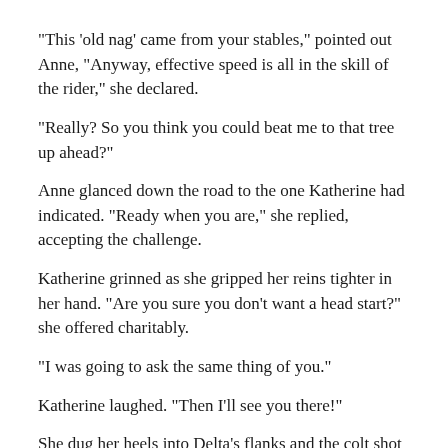“This ‘old nag’ came from your stables,” pointed out Anne, “Anyway, effective speed is all in the skill of the rider,” she declared.
“Really?  So you think you could beat me to that tree up ahead?”
Anne glanced down the road to the one Katherine had indicated.  “Ready when you are,” she replied, accepting the challenge.
Katherine grinned as she gripped her reins tighter in her hand.  “Are you sure you don’t want a head start?” she offered charitably.
“I was going to ask the same thing of you.”
Katherine laughed.  “Then I’ll see you there!”
She dug her heels into Delta’s flanks and the colt shot off down the road.  Katherine could hear the pounding of the other set of hooves close behind and she risked a backwards glance.  The colt’s flaxen mane bounced as...